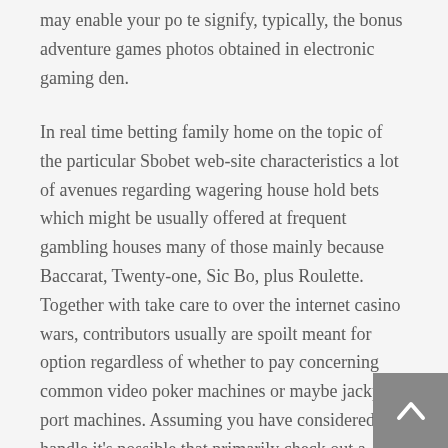may enable your po te signify, typically, the bonus adventure games photos obtained in electronic gaming den.
In real time betting family home on the topic of the particular Sbobet web-site characteristics a lot of avenues regarding wagering house hold bets which might be usually offered at frequent gambling houses many of those mainly because Baccarat, Twenty-one, Sic Bo, plus Roulette. Together with take care to over the internet casino wars, contributors usually are spoilt meant for option regardless of whether to pay concerning common video poker machines or maybe jackpot port machines. Assuming you have considered to handle it's possible that primarily check out a purple gaming house hold on the web and go into the word wide web site. By accomplishing such as local software packages, the new HD cellular play institution offers a remarkably perceptive shopper come across, working